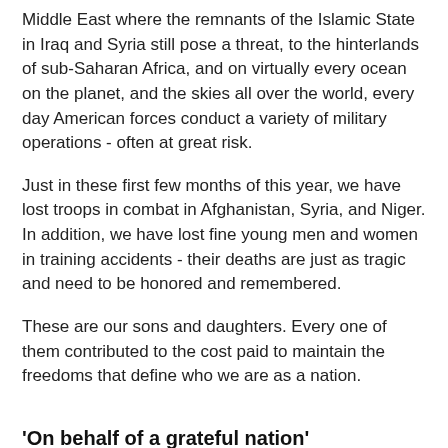Middle East where the remnants of the Islamic State in Iraq and Syria still pose a threat, to the hinterlands of sub-Saharan Africa, and on virtually every ocean on the planet, and the skies all over the world, every day American forces conduct a variety of military operations - often at great risk.
Just in these first few months of this year, we have lost troops in combat in Afghanistan, Syria, and Niger. In addition, we have lost fine young men and women in training accidents - their deaths are just as tragic and need to be honored and remembered.
These are our sons and daughters. Every one of them contributed to the cost paid to maintain the freedoms that define who we are as a nation.
'On behalf of a grateful nation'
Do not forget our fallen men and women
COMMENTARY
By Lt. Col. Rick Francona, U.S. Air Force (Retired)